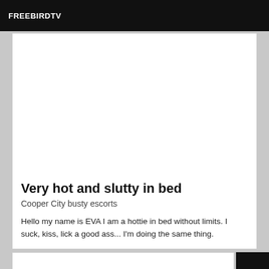FREEBIRDTV
[Figure (other): White blank image area within card]
Very hot and slutty in bed
Cooper City busty escorts
Hello my name is EVA I am a hottie in bed without limits. I suck, kiss, lick a good ass... I'm doing the same thing.